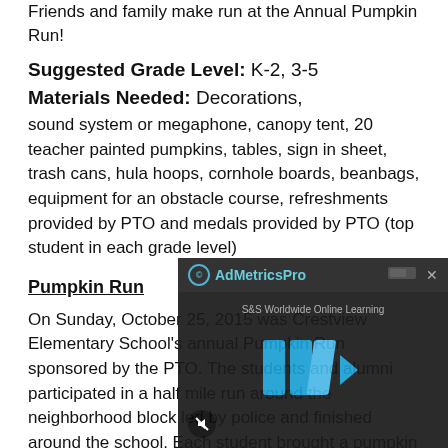Friends and family make run at the Annual Pumpkin Run!
Suggested Grade Level: K-2, 3-5
Materials Needed: Decorations, sound system or megaphone, canopy tent, 20 teacher painted pumpkins, tables, sign in sheet, trash cans, hula hoops, cornhole boards, beanbags, equipment for an obstacle course, refreshments provided by PTO and medals provided by PTO (top student in each grade level)
Pumpkin Run
On Sunday, October 25, 2015 was Crestview Elementary School's annual Pumpkin Run sponsored by the PTO. The students and alumni participated in a half mile run around the neighborhood block led by police and finished around the school. Each student brought a pumpkin and exchanged it for another one after the run. There was no cost to this event.
[Figure (screenshot): AdMetricsPro video advertisement overlay with blue play button icon and mute button]